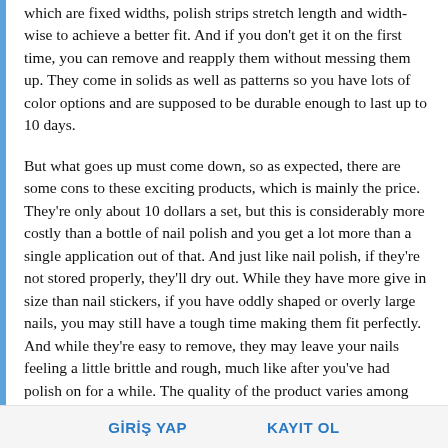which are fixed widths, polish strips stretch length and width-wise to achieve a better fit. And if you don't get it on the first time, you can remove and reapply them without messing them up. They come in solids as well as patterns so you have lots of color options and are supposed to be durable enough to last up to 10 days.
But what goes up must come down, so as expected, there are some cons to these exciting products, which is mainly the price. They're only about 10 dollars a set, but this is considerably more costly than a bottle of nail polish and you get a lot more than a single application out of that. And just like nail polish, if they're not stored properly, they'll dry out. While they have more give in size than nail stickers, if you have oddly shaped or overly large nails, you may still have a tough time making them fit perfectly. And while they're easy to remove, they may leave your nails feeling a little brittle and rough, much like after you've had polish on for a while. The quality of the product varies among different manufacturers, so you may have to try a few different kinds to find the ones you like best. And beware -- because of their stretchy nature, the patterned designs may not remain consistent within a single nail or from nail to nail.
GİRİŞ YAP   KAYIT OL